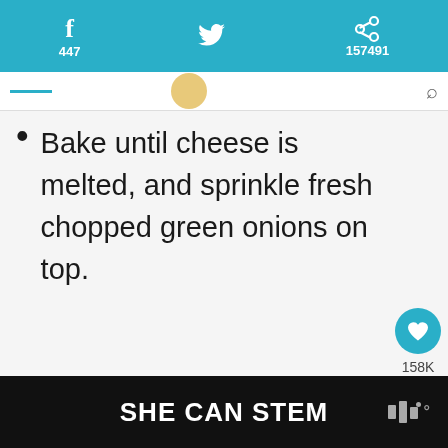f 447  [twitter icon]  p 157491
Bake until cheese is melted, and sprinkle fresh chopped green onions on top.
[Figure (infographic): Heart/save button (teal circle with heart icon) showing 158K likes, and share button below it]
[Figure (infographic): What's Next card with thumbnail of fried food and text 'Southern Oven Fried...']
SHE CAN STEM